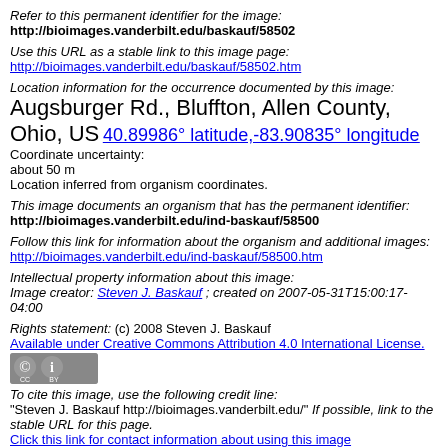Refer to this permanent identifier for the image: http://bioimages.vanderbilt.edu/baskauf/58502
Use this URL as a stable link to this image page: http://bioimages.vanderbilt.edu/baskauf/58502.htm
Location information for the occurrence documented by this image: Augsburger Rd., Bluffton, Allen County, Ohio, US 40.89986° latitude,-83.90835° longitude Coordinate uncertainty: about 50 m Location inferred from organism coordinates.
This image documents an organism that has the permanent identifier: http://bioimages.vanderbilt.edu/ind-baskauf/58500
Follow this link for information about the organism and additional images: http://bioimages.vanderbilt.edu/ind-baskauf/58500.htm
Intellectual property information about this image: Image creator: Steven J. Baskauf ; created on 2007-05-31T15:00:17-04:00
Rights statement: (c) 2008 Steven J. Baskauf Available under Creative Commons Attribution 4.0 International License.
[Figure (logo): Creative Commons BY license badge]
To cite this image, use the following credit line: "Steven J. Baskauf http://bioimages.vanderbilt.edu/" If possible, link to the stable URL for this page. Click this link for contact information about using this image
Metadata last modified: 2017-11-14T21:34:57-06:00